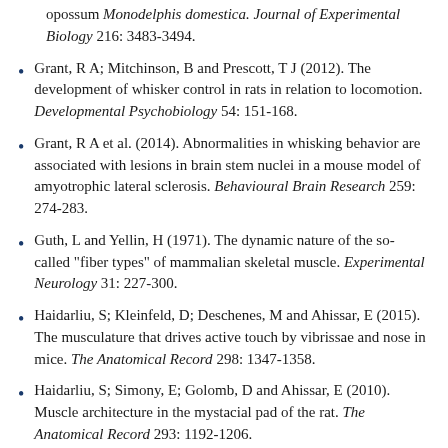(partial) opossum Monodelphis domestica. Journal of Experimental Biology 216: 3483-3494.
Grant, R A; Mitchinson, B and Prescott, T J (2012). The development of whisker control in rats in relation to locomotion. Developmental Psychobiology 54: 151-168.
Grant, R A et al. (2014). Abnormalities in whisking behavior are associated with lesions in brain stem nuclei in a mouse model of amyotrophic lateral sclerosis. Behavioural Brain Research 259: 274-283.
Guth, L and Yellin, H (1971). The dynamic nature of the so-called "fiber types" of mammalian skeletal muscle. Experimental Neurology 31: 227-300.
Haidarliu, S; Kleinfeld, D; Deschenes, M and Ahissar, E (2015). The musculature that drives active touch by vibrissae and nose in mice. The Anatomical Record 298: 1347-1358.
Haidarliu, S; Simony, E; Golomb, D and Ahissar, E (2010). Muscle architecture in the mystacial pad of the rat. The Anatomical Record 293: 1192-1206.
Hill, D N; Bermejo, R; Zeigler, H P and Kleinfeld, D (2008). Biomechanics of the vibrissa motor plant in rat: Rhythmic